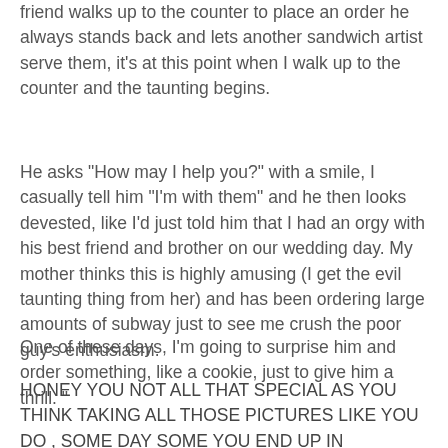friend walks up to the counter to place an order he always stands back and lets another sandwich artist serve them, it’s at this point when I walk up to the counter and the taunting begins.
He asks “How may I help you?” with a smile, I casually tell him “I’m with them” and he then looks devested, like I’d just told him that I had an orgy with his best friend and brother on our wedding day. My mother thinks this is highly amusing (I get the evil taunting thing from her) and has been ordering large amounts of subway just to see me crush the poor guy’s enthusiasm.
One of these days, I’m going to surprise him and order something, like a cookie, just to give him a thrill. ”
HONEY YOU NOT ALL THAT SPECIAL AS YOU THINK TAKING ALL THOSE PICTURES LIKE YOU DO , SOME DAY SOME YOU END UP IN TROUBLE!! YOU NOT ALL THAT GREAT AS YOU THINK YOU ARE OR SPECIAL!!!!